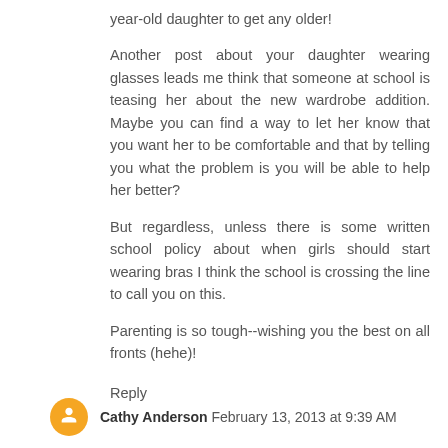year-old daughter to get any older!
Another post about your daughter wearing glasses leads me think that someone at school is teasing her about the new wardrobe addition. Maybe you can find a way to let her know that you want her to be comfortable and that by telling you what the problem is you will be able to help her better?
But regardless, unless there is some written school policy about when girls should start wearing bras I think the school is crossing the line to call you on this.
Parenting is so tough--wishing you the best on all fronts (hehe)!
Reply
Cathy Anderson  February 13, 2013 at 9:39 AM